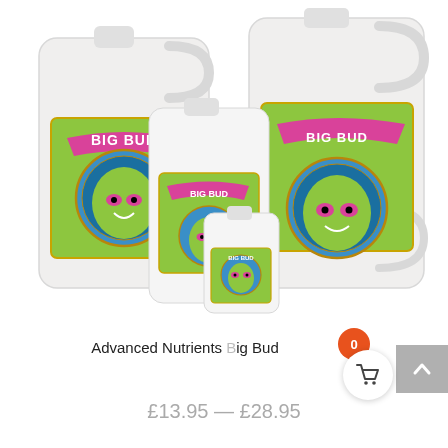[Figure (photo): Multiple white plastic jugs/bottles of Advanced Nutrients Big Bud liquid fertilizer product in various sizes arranged together, featuring green cartoon character labels]
Advanced Nutrients Big Bud
£13.95 — £28.95